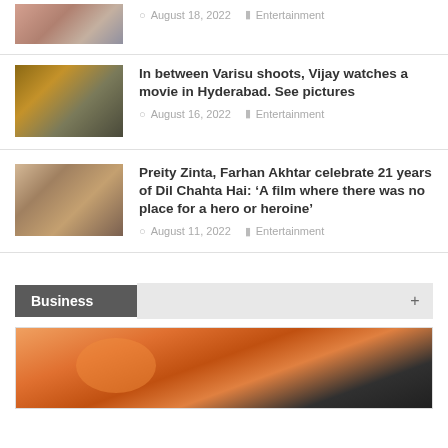[Figure (photo): Thumbnail image for top article (partially visible at top)]
August 18, 2022 Entertainment
[Figure (photo): Thumbnail for Varisu article showing movie cast]
In between Varisu shoots, Vijay watches a movie in Hyderabad. See pictures
August 16, 2022 Entertainment
[Figure (photo): Thumbnail for Dil Chahta Hai article showing film cast]
Preity Zinta, Farhan Akhtar celebrate 21 years of Dil Chahta Hai: ‘A film where there was no place for a hero or heroine’
August 11, 2022 Entertainment
Business
[Figure (photo): Featured image showing orange fuel pump nozzle being held]